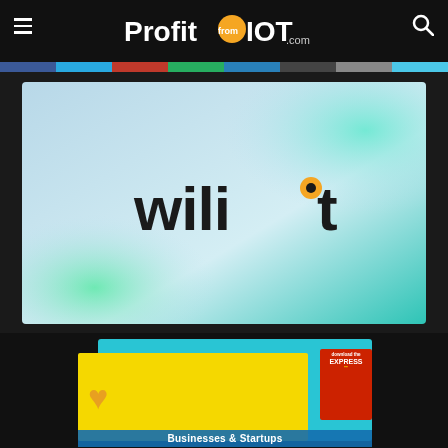ProfitfromIOT.com
[Figure (logo): Wiliot company logo on a gradient background (light blue, teal, green). The word 'wiliot' in dark text with an orange circle over the letter 'i'.]
[Figure (infographic): Partial advertisement banner showing a yellow background with an orange heart icon and an Express magazine cover, with cyan background and text partially visible reading 'Businesses & Startups']